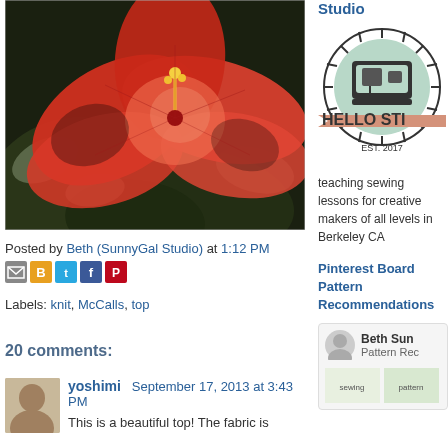[Figure (photo): Close-up photo of a red hibiscus flower with dark green leaves in the background]
Posted by Beth (SunnyGal Studio) at 1:12 PM
[Figure (infographic): Social sharing icons: Email, Blogger, Twitter, Facebook, Pinterest]
Labels: knit, McCalls, top
20 comments:
[Figure (photo): Small avatar photo of yoshimi commenter]
yoshimi  September 17, 2013 at 3:43 PM
This is a beautiful top! The fabric is
Studio
[Figure (logo): Hello Stitch Studio logo - circular design with sewing machine icon, EST. 2017, reads HELLO STI (partially visible)]
teaching sewing lessons for creative makers of all levels in Berkeley CA
Pinterest Board Pattern Recommendations
[Figure (screenshot): Pinterest board card showing Beth Sun profile with Pattern Rec label and sewing pattern images]